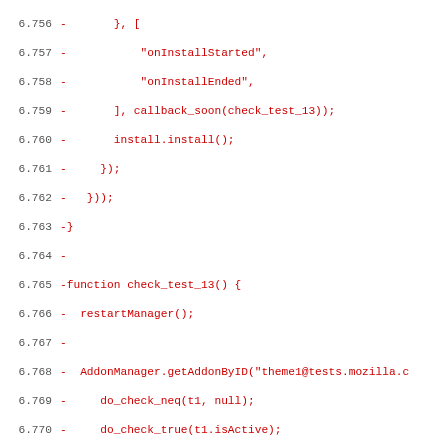Code diff showing removed lines 6.756–6.788 of a JavaScript test file involving install callbacks, theme manager functions, and lightweight theme configuration.